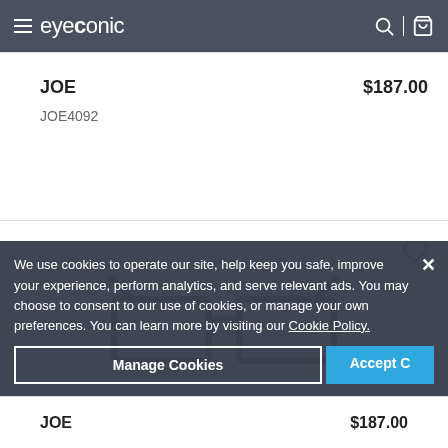eyeconic
JOE
$187.00
JOE4092
[Figure (photo): Front view of dark gray rectangular eyeglasses frames (JOE4092) with two color swatches below]
We use cookies to operate our site, help keep you safe, improve your experience, perform analytics, and serve relevant ads. You may choose to consent to our use of cookies, or manage your own preferences. You can learn more by visiting our Cookie Policy.
Manage Cookies
Accept C
JOE  $187.00